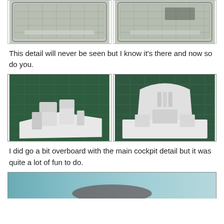[Figure (photo): Two photos side by side showing plastic model kit sprues/frames with grid-like green/grey parts, viewed from above]
This detail will never be seen but I know it's there and now so do you.
[Figure (photo): Two photos side by side: left shows white resin/plastic cockpit seat assembly on green cutting mat; right shows white resin cockpit interior detail with rounded fuselage frame]
I did go a bit overboard with the main cockpit detail but it was quite a lot of fun to do.
[Figure (photo): Partial photo at bottom showing what appears to be a blue/teal model part or surface, cut off at page edge]